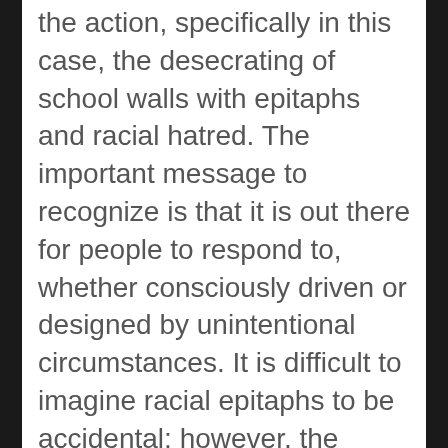the action, specifically in this case, the desecrating of school walls with epitaphs and racial hatred. The important message to recognize is that it is out there for people to respond to, whether consciously driven or designed by unintentional circumstances. It is difficult to imagine racial epitaphs to be accidental; however, the motivation is unique in this situation.
The initial reports of this most recent incident are that the student was not fully aware of their actions. One could argue this is an attempt to save credibility as an organization, or the truth of the matter